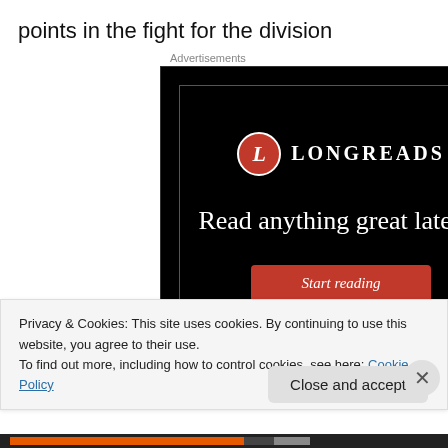points in the fight for the division
Advertisements
[Figure (illustration): Longreads advertisement banner on black background with logo, tagline 'Read anything great lately?' and 'Start reading' button]
Privacy & Cookies: This site uses cookies. By continuing to use this website, you agree to their use.
To find out more, including how to control cookies, see here: Cookie Policy